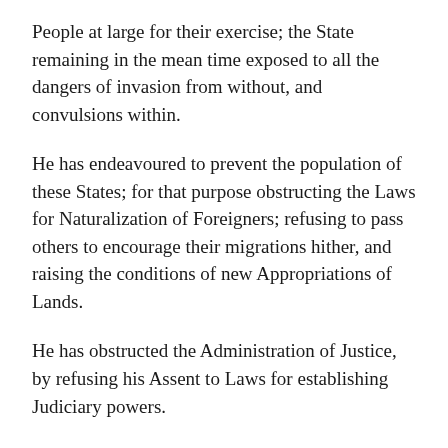People at large for their exercise; the State remaining in the mean time exposed to all the dangers of invasion from without, and convulsions within.
He has endeavoured to prevent the population of these States; for that purpose obstructing the Laws for Naturalization of Foreigners; refusing to pass others to encourage their migrations hither, and raising the conditions of new Appropriations of Lands.
He has obstructed the Administration of Justice, by refusing his Assent to Laws for establishing Judiciary powers.
He has made Judges dependent on his Will alone, for the tenure of their offices, and the amount and payment of their salaries.
He has erected a multitude of New Offices, and sent…